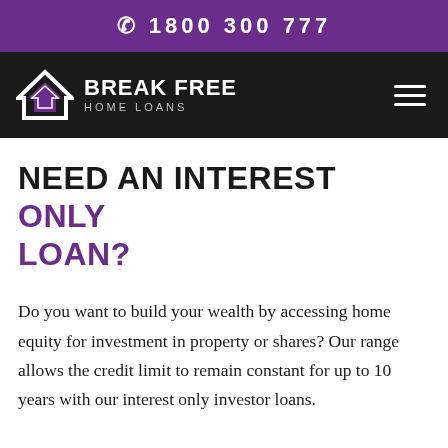☎ 1800 300 777
[Figure (logo): Break Free Home Loans logo with roof/chevron icon on dark navigation bar]
NEED AN INTEREST ONLY LOAN?
Do you want to build your wealth by accessing home equity for investment in property or shares? Our range allows the credit limit to remain constant for up to 10 years with our interest only investor loans.